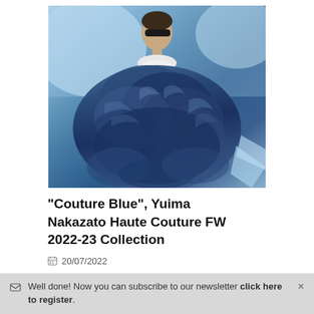[Figure (photo): A fashion model wearing a large voluminous blue feathered/fur coat at a haute couture runway show. The model has short hair, wears dark sunglasses, and stands against a blue-toned backdrop. The coat is an oversized textured blue garment covering most of the body.]
"Couture Blue", Yuima Nakazato Haute Couture FW 2022-23 Collection
20/07/2022
Well done! Now you can subscribe to our newsletter click here to register.